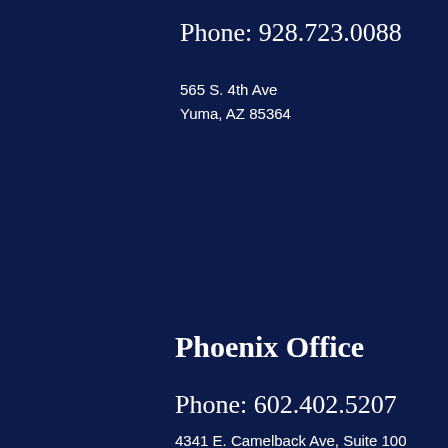Phone: 928.723.0088
565 S. 4th Ave
Yuma, AZ 85364
Phoenix Office
Phone: 602.402.5207
4341 E. Camelback Ave, Suite 100